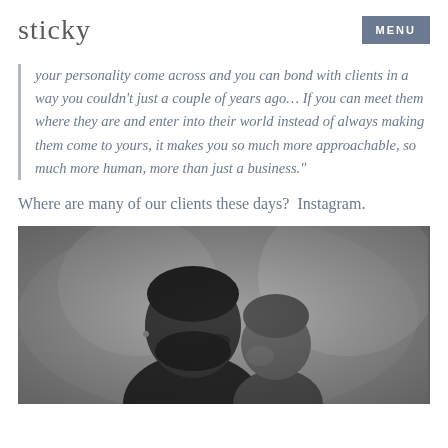sticky   MENU
your personality come across and you can bond with clients in a way you couldn’t just a couple of years ago… If you can meet them where they are and enter into their world instead of always making them come to yours, it makes you so much more approachable, so much more human, more than just a business.”
Where are many of our clients these days?  Instagram.
[Figure (photo): Black and white photograph of a bearded man kissing a young child on the cheek]